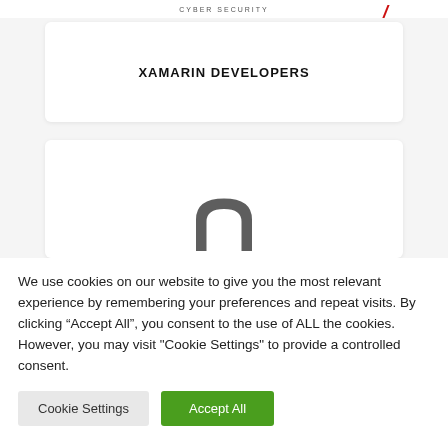CYBER SECURITY
XAMARIN DEVELOPERS
[Figure (logo): Microsoft Office-style arch/doorway logo icon in dark gray]
We use cookies on our website to give you the most relevant experience by remembering your preferences and repeat visits. By clicking “Accept All”, you consent to the use of ALL the cookies. However, you may visit "Cookie Settings" to provide a controlled consent.
Cookie Settings | Accept All